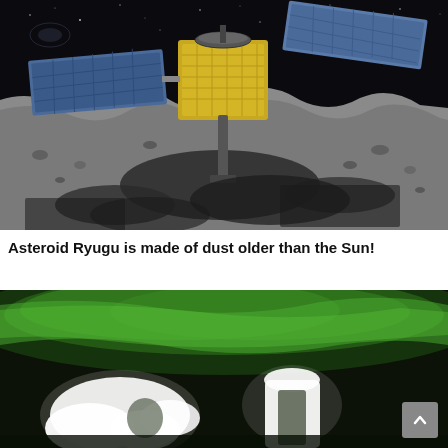[Figure (photo): Artist's rendering of the Hayabusa2 spacecraft hovering above the surface of asteroid Ryugu. The spacecraft has gold-colored body with large solar panels, touching down on the dark, rocky surface of the asteroid against a starry black space background.]
Asteroid Ryugu is made of dust older than the Sun!
[Figure (photo): Photo showing bright green aurora borealis (northern lights) in the sky, with white illuminated shapes or figures in the foreground against the glowing green background.]